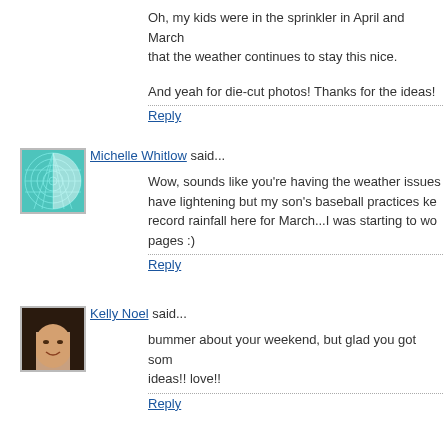Oh, my kids were in the sprinkler in April and March... that the weather continues to stay this nice.
And yeah for die-cut photos! Thanks for the ideas!
Reply
[Figure (photo): Avatar image of Michelle Whitlow - teal geometric sphere/ball graphic]
Michelle Whitlow said...
Wow, sounds like you're having the weather issues... have lightening but my son's baseball practices ke... record rainfall here for March...I was starting to wo... pages :)
Reply
[Figure (photo): Avatar photo of Kelly Noel - woman with dark hair smiling]
Kelly Noel said...
bummer about your weekend, but glad you got som... ideas!! love!!
Reply